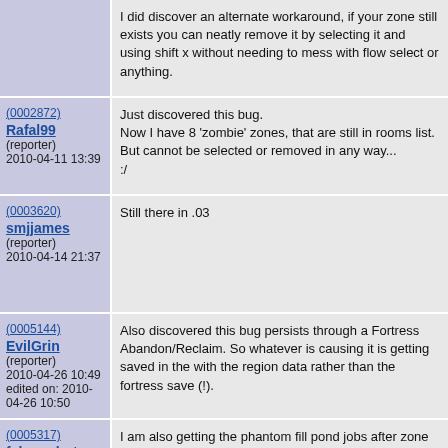I did discover an alternate workaround, if your zone still exists you can neatly remove it by selecting it and using shift x without needing to mess with flow select or anything.
(0002872) Rafal99 (reporter) 2010-04-11 13:39 | Just discovered this bug. Now I have 8 'zombie' zones, that are still in rooms list. But cannot be selected or removed in any way... :/
(0003620) smjjames (reporter) 2010-04-14 21:37 | Still there in .03
(0005144) EvilGrin (reporter) 2010-04-26 10:49 edited on: 2010-04-26 10:50 | Also discovered this bug persists through a Fortress Abandon/Reclaim. So whatever is causing it is getting saved in the with the region data rather than the fortress save (!).
(0005317) fake_robot (reporter) | I am also getting the phantom fill pond jobs after zone deletion. Also, Greyhawk, you have to fill a pond from 1z above, so you'd have to have the area...